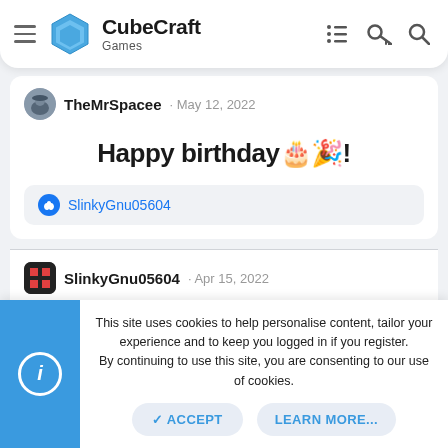CubeCraft Games
TheMrSpacee · May 12, 2022
Happy birthday🎂🎉!
👍 SlinkyGnu05604
SlinkyGnu05604 · Apr 15, 2022
SkyWars? Or should I say Stone Sword Wars!
This site uses cookies to help personalise content, tailor your experience and to keep you logged in if you register.
By continuing to use this site, you are consenting to our use of cookies.